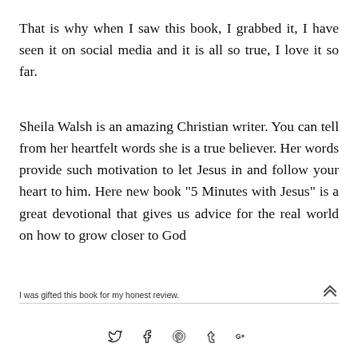That is why when I saw this book, I grabbed it, I have seen it on social media and it is all so true, I love it so far.
Sheila Walsh is an amazing Christian writer. You can tell from her heartfelt words she is a true believer. Her words provide such motivation to let Jesus in and follow your heart to him. Here new book "5 Minutes with Jesus" is a great devotional that gives us advice for the real world on how to grow closer to God
I was gifted this book for my honest review.
Social share icons: Twitter, Facebook, Pinterest, Tumblr, Google+